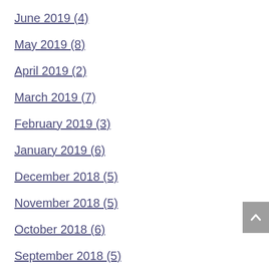June 2019 (4)
May 2019 (8)
April 2019 (2)
March 2019 (7)
February 2019 (3)
January 2019 (6)
December 2018 (5)
November 2018 (5)
October 2018 (6)
September 2018 (5)
August 2018 (7)